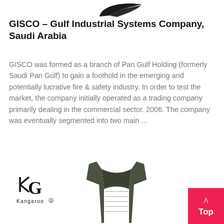[Figure (logo): GISCO company logo — a dark curved swoosh/checkmark shape]
GISCO – Gulf Industrial Systems Company, Saudi Arabia
GISCO was formed as a branch of Pan Gulf Holding (formerly Saudi Pan Gulf) to gain a foothold in the emerging and potentially lucrative fire & safety industry. In order to test the market, the company initially operated as a trading company primarily dealing in the commercial sector. 2006. The company was eventually segmented into two main ...
[Figure (logo): Kangaroo brand logo with stylized KG letters and Kangaroo text]
[Figure (photo): Olive/dark green tactical or safety vest garment]